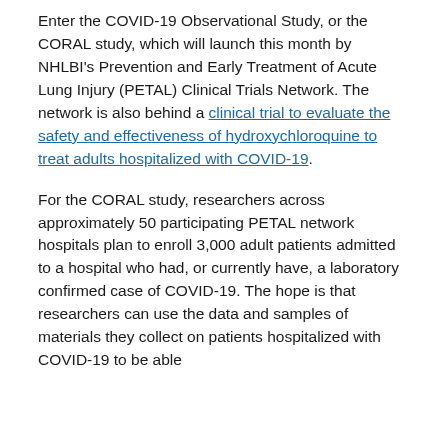Enter the COVID-19 Observational Study, or the CORAL study, which will launch this month by NHLBI's Prevention and Early Treatment of Acute Lung Injury (PETAL) Clinical Trials Network. The network is also behind a clinical trial to evaluate the safety and effectiveness of hydroxychloroquine to treat adults hospitalized with COVID-19.
For the CORAL study, researchers across approximately 50 participating PETAL network hospitals plan to enroll 3,000 adult patients admitted to a hospital who had, or currently have, a laboratory confirmed case of COVID-19. The hope is that researchers can use the data and samples of materials they collect on patients hospitalized with COVID-19 to be able